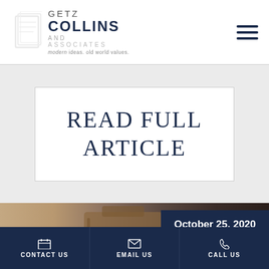[Figure (logo): Getz Collins and Associates logo with book/document icon and tagline 'modern ideas. old world values.']
READ FULL ARTICLE
[Figure (photo): Person holding a leather briefcase, dark professional photo with date badge overlay]
October 25, 2020
CONTACT US | EMAIL US | CALL US